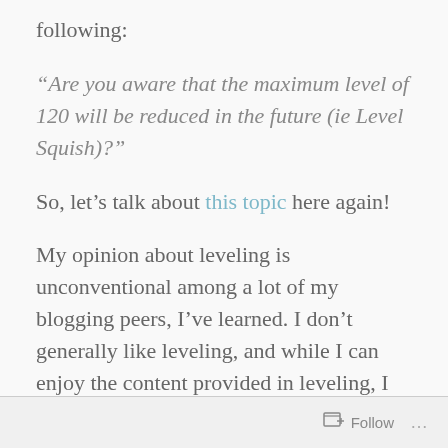following:
“Are you aware that the maximum level of 120 will be reduced in the future (ie Level Squish)?”
So, let’s talk about this topic here again!
My opinion about leveling is unconventional among a lot of my blogging peers, I’ve learned. I don’t generally like leveling, and while I can enjoy the content provided in leveling, I don’t really look forward to it. I look forward to the story, but the number
Follow ...